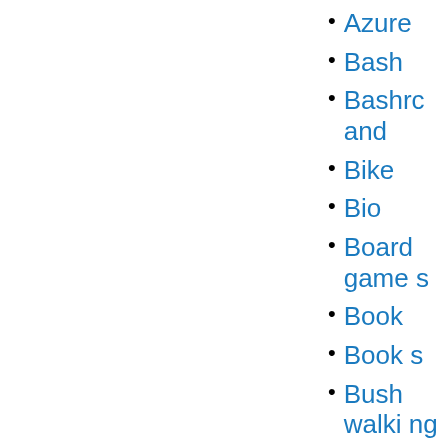Azure
Bash
Bashrc and
Bike
Bio
Board games
Book
Books
Bushwalking
Cabin